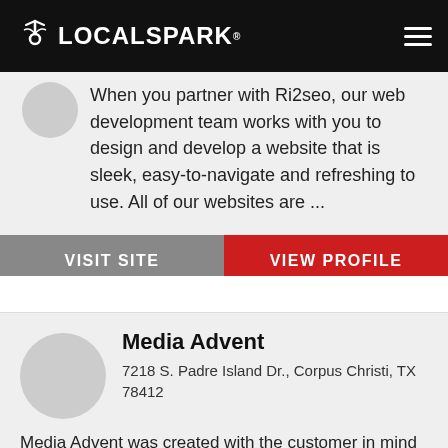[Figure (logo): LocalSpark logo with navigation bar on black background]
When you partner with Ri2seo, our web development team works with you to design and develop a website that is sleek, easy-to-navigate and refreshing to use. All of our websites are ...
VISIT SITE
VIEW PROFILE
Media Advent
7218 S. Padre Island Dr., Corpus Christi, TX 78412
Media Advent was created with the customer in mind first and foremost